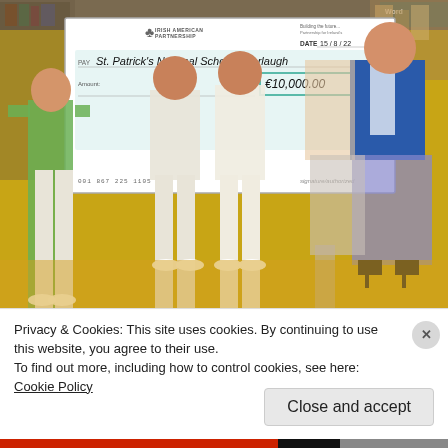[Figure (photo): People holding a large ceremonial check from Irish American Partnership dated 15/8/22 for €10,000.00 made out to St. Patrick's National School - Corlaugh. Multiple people standing in what appears to be a school gymnasium or classroom with yellow floor.]
Privacy & Cookies: This site uses cookies. By continuing to use this website, you agree to their use.
To find out more, including how to control cookies, see here: Cookie Policy
Close and accept